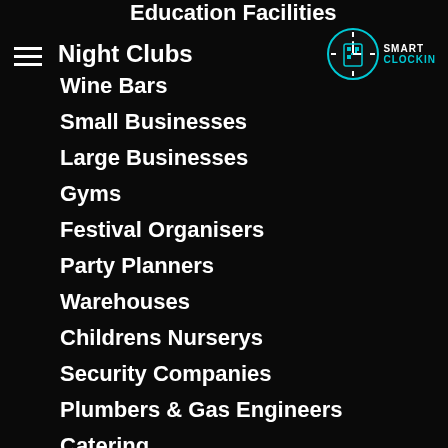Education Facilities
Night Clubs
[Figure (logo): Smart ClockIn logo: circular clock/phone icon with QR code design and 'SMART CLOCKIN' text]
Wine Bars
Small Businesses
Large Businesses
Gyms
Festival Organisers
Party Planners
Warehouses
Childrens Nurserys
Security Companies
Plumbers & Gas Engineers
Catering
Hair Dressers